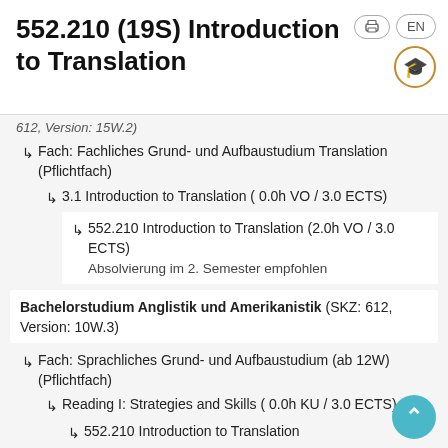552.210 (19S) Introduction to Translation
612, Version: 15W.2)
Fach: Fachliches Grund- und Aufbaustudium Translation (Pflichtfach)
3.1 Introduction to Translation ( 0.0h VO / 3.0 ECTS)
552.210 Introduction to Translation (2.0h VO / 3.0 ECTS)
Absolvierung im 2. Semester empfohlen
Bachelorstudium Anglistik und Amerikanistik (SKZ: 612, Version: 10W.3)
Fach: Sprachliches Grund- und Aufbaustudium (ab 12W) (Pflichtfach)
Reading I: Strategies and Skills ( 0.0h KU / 3.0 ECTS)
552.210 Introduction to Translation